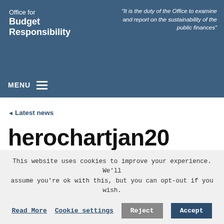Office for Budget Responsibility
"It is the duty of the Office to examine and report on the sustainability of the public finances"
MENU
◄ Latest news
herochartjan20
This website uses cookies to improve your experience. We'll assume you're ok with this, but you can opt-out if you wish.
Read More | Cookie settings | Reject | Accept